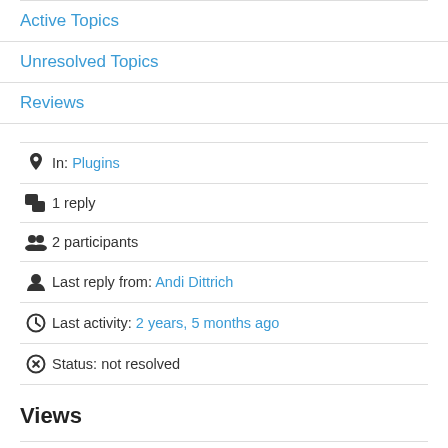Active Topics
Unresolved Topics
Reviews
In: Plugins
1 reply
2 participants
Last reply from: Andi Dittrich
Last activity: 2 years, 5 months ago
Status: not resolved
Views